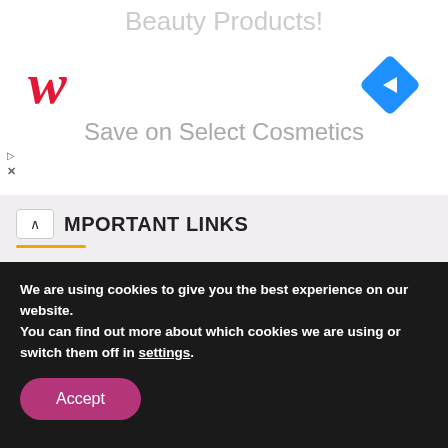[Figure (screenshot): Walgreens advertisement banner showing red W logo, blue diamond navigation arrow icon, and text 'Beauty Products!' and 'Save on Select Cosmetics' in gray]
IMPORTANT LINKS
About Us
Terms of Use
Privacy Policy
We are using cookies to give you the best experience on our website.
You can find out more about which cookies we are using or switch them off in settings.